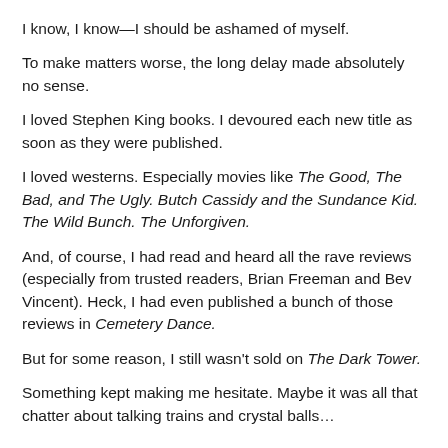I know, I know—I should be ashamed of myself.
To make matters worse, the long delay made absolutely no sense.
I loved Stephen King books. I devoured each new title as soon as they were published.
I loved westerns. Especially movies like The Good, The Bad, and The Ugly. Butch Cassidy and the Sundance Kid. The Wild Bunch. The Unforgiven.
And, of course, I had read and heard all the rave reviews (especially from trusted readers, Brian Freeman and Bev Vincent). Heck, I had even published a bunch of those reviews in Cemetery Dance.
But for some reason, I still wasn't sold on The Dark Tower.
Something kept making me hesitate. Maybe it was all that chatter about talking trains and crystal balls…